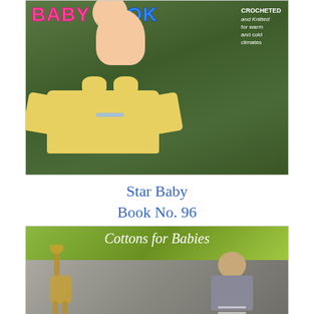[Figure (photo): Cover of 'Baby Book' showing a baby and yellow crocheted/knitted baby set (sweater, booties, cap) on green grass background. Text reads 'CROCHETED and Knitted for warm and cold climates'.]
Star Baby Book No. 96
[Figure (photo): Cover of 'Cottons for Babies' booklet showing a toddler in a striped outfit with a giraffe toy, against a gray/green background.]